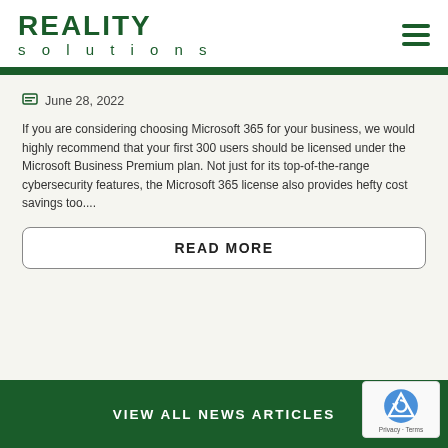[Figure (logo): Reality Solutions company logo in dark green]
June 28, 2022
If you are considering choosing Microsoft 365 for your business, we would highly recommend that your first 300 users should be licensed under the Microsoft Business Premium plan. Not just for its top-of-the-range cybersecurity features, the Microsoft 365 license also provides hefty cost savings too....
READ MORE
VIEW ALL NEWS ARTICLES